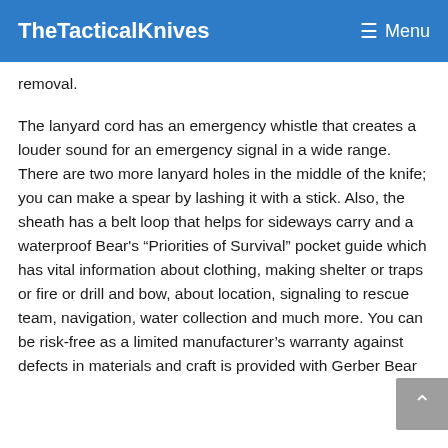TheTacticalKnives   ☰ Menu
removal.
The lanyard cord has an emergency whistle that creates a louder sound for an emergency signal in a wide range. There are two more lanyard holes in the middle of the knife; you can make a spear by lashing it with a stick. Also, the sheath has a belt loop that helps for sideways carry and a waterproof Bear's “Priorities of Survival” pocket guide which has vital information about clothing, making shelter or traps or fire or drill and bow, about location, signaling to rescue team, navigation, water collection and much more. You can be risk-free as a limited manufacturer’s warranty against defects in materials and craft is provided with Gerber Bear